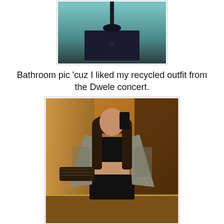[Figure (photo): Partial photo showing a hotel-style room object with a 'W' logo on a dark square stand, teal/green gradient background, top portion of image cropped]
Bathroom pic 'cuz I liked my recycled outfit from the Dwele concert.
[Figure (photo): Bathroom mirror selfie of a woman with long dark hair wearing a black crop top, patterned open cardigan, and black pants, holding a dark clutch purse with one hand and taking the photo with her phone in the other, warm golden ambient lighting]